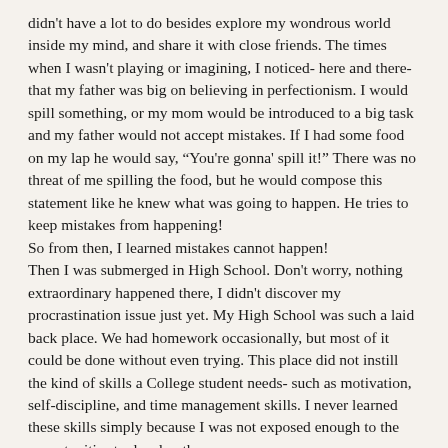didn't have a lot to do besides explore my wondrous world inside my mind, and share it with close friends. The times when I wasn't playing or imagining, I noticed- here and there- that my father was big on believing in perfectionism. I would spill something, or my mom would be introduced to a big task and my father would not accept mistakes. If I had some food on my lap he would say, “You're gonna' spill it!” There was no threat of me spilling the food, but he would compose this statement like he knew what was going to happen. He tries to keep mistakes from happening!
So from then, I learned mistakes cannot happen!
Then I was submerged in High School. Don't worry, nothing extraordinary happened there, I didn't discover my procrastination issue just yet. My High School was such a laid back place. We had homework occasionally, but most of it could be done without even trying. This place did not instill the kind of skills a College student needs- such as motivation, self-discipline, and time management skills. I never learned these skills simply because I was not exposed enough to the opportunities to develop them.
Fast-forward to my college life! I quickly learned that I actually had to do stuff, and not just carelessly finish it. The classes I had gave out homework like Trick-or-treating on Halloween (not really, but still) At least when he she does homework to come across and that it didn't